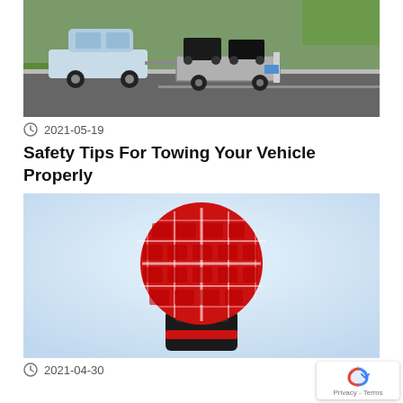[Figure (photo): A white pickup truck towing a trailer with ATVs on a road, viewed from behind. Green grass is visible on the left side.]
2021-05-19
Safety Tips For Towing Your Vehicle Properly
[Figure (photo): A red waffle maker standing upright and open, showing the circular waffle iron plate. The base is black. Background is light blue.]
2021-04-30